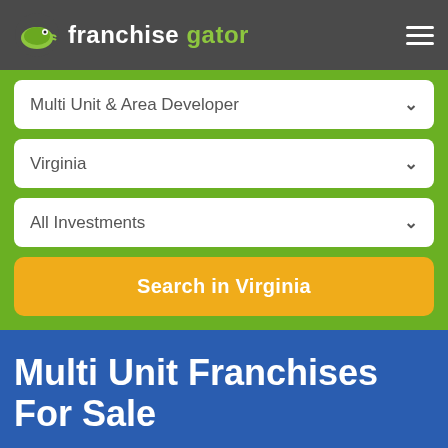franchise gator
Multi Unit & Area Developer
Virginia
All Investments
Search in Virginia
Multi Unit Franchises For Sale
This site uses cookies. By continuing to browse the site you are agreeing to our use of cookies. Review our cookies information for more details.